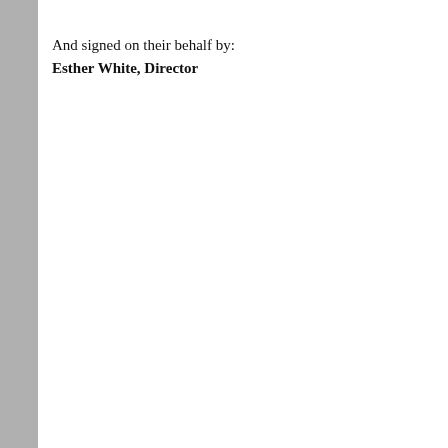And signed on their behalf by:
Esther White, Director